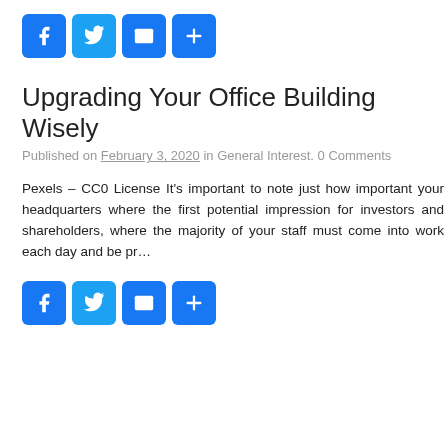[Figure (other): Row of four social share buttons: Facebook (blue), Twitter (light blue), Email (blue envelope), Share (blue plus)]
Upgrading Your Office Building Wisely
Published on February 3, 2020 in General Interest. 0 Comments
Pexels – CC0 License It's important to note just how important your headquarters where the first potential impression for investors and shareholders, where the majority of your staff must come into work each day and be pr…
[Figure (other): Row of four social share buttons: Facebook (blue), Twitter (light blue), Email (blue envelope), Share (blue plus)]